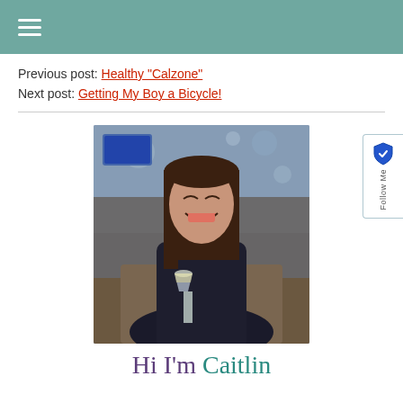☰ (hamburger menu icon)
Previous post: Healthy "Calzone"
Next post: Getting My Boy a Bicycle!
[Figure (photo): A young woman with long brown hair, smiling and holding a champagne glass in a restaurant setting]
Hi I'm Caitlin